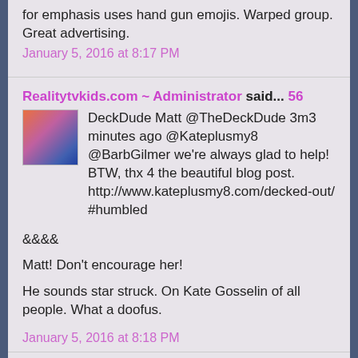for emphasis uses hand gun emojis. Warped group. Great advertising.
January 5, 2016 at 8:17 PM
Realitytvkids.com ~ Administrator said... 56
DeckDude Matt @TheDeckDude 3m3 minutes ago @Kateplusmy8 @BarbGilmer we're always glad to help!
BTW, thx 4 the beautiful blog post. http://www.kateplusmy8.com/decked-out/ #humbled
&&&&
Matt! Don't encourage her!
He sounds star struck. On Kate Gosselin of all people. What a doofus.
January 5, 2016 at 8:18 PM
Realitytvkids.com ~ Administrator said... 57